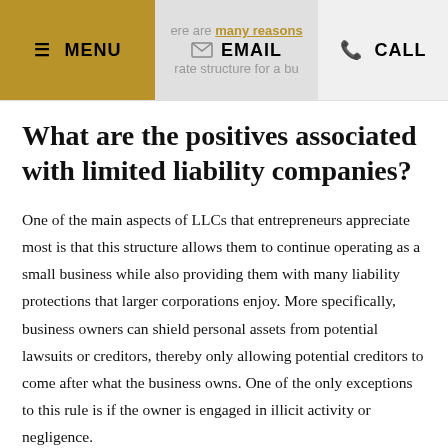MENU | there are many reasons | rate structure for a bu... | EMAIL | CALL
What are the positives associated with limited liability companies?
One of the main aspects of LLCs that entrepreneurs appreciate most is that this structure allows them to continue operating as a small business while also providing them with many liability protections that larger corporations enjoy. More specifically, business owners can shield personal assets from potential lawsuits or creditors, thereby only allowing potential creditors to come after what the business owns. One of the only exceptions to this rule is if the owner is engaged in illicit activity or negligence.
Many prospective business owners also elect to